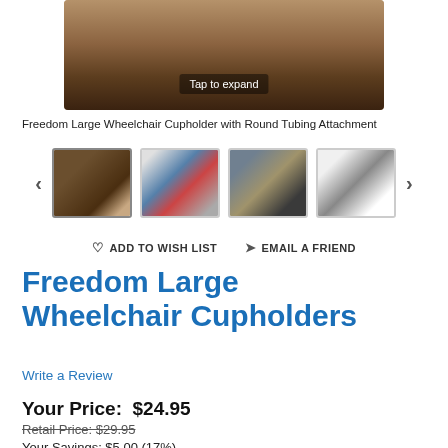[Figure (photo): Main product photo of Freedom Large Wheelchair Cupholder with Round Tubing Attachment, top-down view showing textured surface, with 'Tap to expand' overlay button]
Freedom Large Wheelchair Cupholder with Round Tubing Attachment
[Figure (photo): Thumbnail images of wheelchair cupholder product: (1) cupholder from side angle, (2) cupholder mounted on wheelchair outdoors, (3) cupholder mounted on wheelchair with person seated, (4) white cylindrical bottle in cupholder]
ADD TO WISH LIST   EMAIL A FRIEND
Freedom Large Wheelchair Cupholders
Write a Review
Your Price:  $24.95
Retail Price: $29.95
Your Savings: $5.00 (17%)